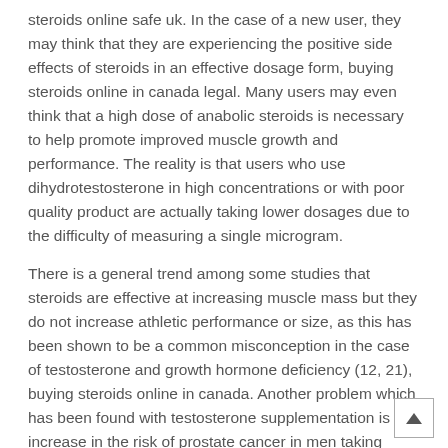steroids online safe uk. In the case of a new user, they may think that they are experiencing the positive side effects of steroids in an effective dosage form, buying steroids online in canada legal. Many users may even think that a high dose of anabolic steroids is necessary to help promote improved muscle growth and performance. The reality is that users who use dihydrotestosterone in high concentrations or with poor quality product are actually taking lower dosages due to the difficulty of measuring a single microgram.
There is a general trend among some studies that steroids are effective at increasing muscle mass but they do not increase athletic performance or size, as this has been shown to be a common misconception in the case of testosterone and growth hormone deficiency (12, 21), buying steroids online in canada. Another problem which has been found with testosterone supplementation is an increase in the risk of prostate cancer in men taking steroids (22).